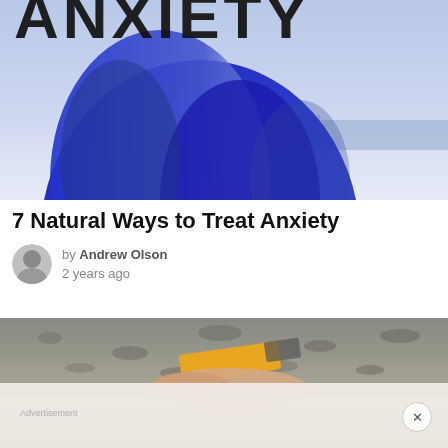[Figure (photo): Hero image showing a person with blue-tinted hair from behind, with large bold text 'ANXIETY' partially visible at the top, blue-purple toned moody photo]
7 Natural Ways to Treat Anxiety
by Andrew Olson
2 years ago
[Figure (photo): Hand holding a yellow tool or object against gravelly ground, partially obscured by an ad overlay with a close (X) button]